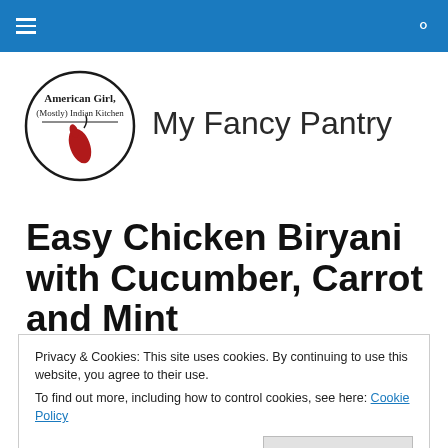Navigation bar with hamburger menu and search icon
[Figure (logo): American Girl, (Mostly) Indian Kitchen logo — circular logo with text and red chili pepper illustration, next to site title 'My Fancy Pantry']
Easy Chicken Biryani with Cucumber, Carrot and Mint
Privacy & Cookies: This site uses cookies. By continuing to use this website, you agree to their use.
To find out more, including how to control cookies, see here: Cookie Policy
Close and accept
that I grew up eating as a kid, only a million times better!